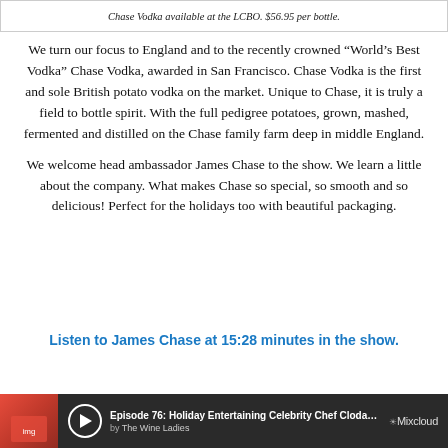Chase Vodka available at the LCBO. $56.95 per bottle.
We turn our focus to England and to the recently crowned “World’s Best Vodka” Chase Vodka, awarded in San Francisco. Chase Vodka is the first and sole British potato vodka on the market. Unique to Chase, it is truly a field to bottle spirit. With the full pedigree potatoes, grown, mashed, fermented and distilled on the Chase family farm deep in middle England.
We welcome head ambassador James Chase to the show. We learn a little about the company. What makes Chase so special, so smooth and so delicious! Perfect for the holidays too with beautiful packaging.
Listen to James Chase at 15:28 minutes in the show.
[Figure (screenshot): Mixcloud audio player bar showing Episode 76: Holiday Entertaining Celebrity Chef Clodagh Mc... by The Wine Ladies]